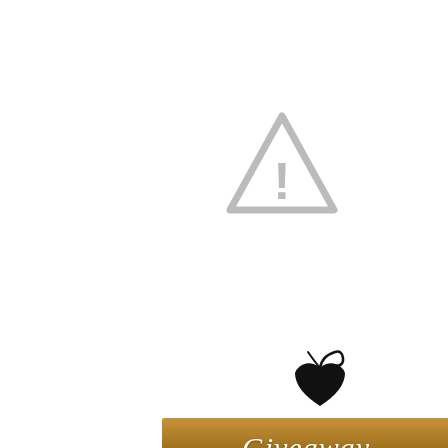[Figure (illustration): Gray warning triangle with exclamation mark icon]
[Figure (illustration): Decorative icon showing a stylized figure with www globe bag, in gold/silver tones]
[Figure (illustration): Small black decorative giveaway icon with heart and flourishes above the Giveaway banner]
[Figure (illustration): Gold gradient horizontal banner with italic white script text reading 'Giveaway']
|  |  |  |
| --- | --- | --- |
| IT'S OVER! | 2 0 0 3 | 0/25 |
| $25 Amazon Gift Card |  |  |